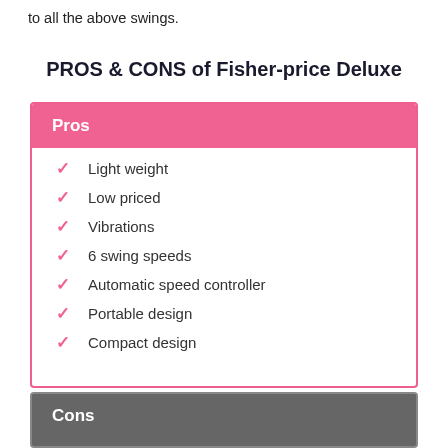to all the above swings.
PROS & CONS of Fisher-price Deluxe
Light weight
Low priced
Vibrations
6 swing speeds
Automatic speed controller
Portable design
Compact design
Cons